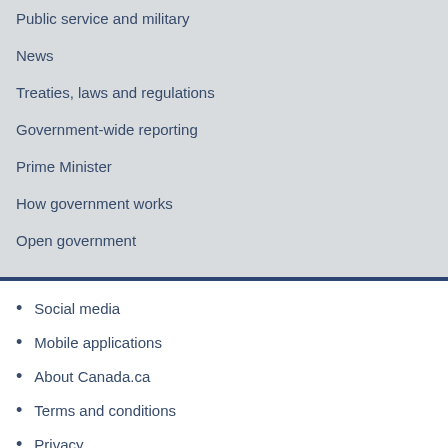Public service and military
News
Treaties, laws and regulations
Government-wide reporting
Prime Minister
How government works
Open government
Social media
Mobile applications
About Canada.ca
Terms and conditions
Privacy